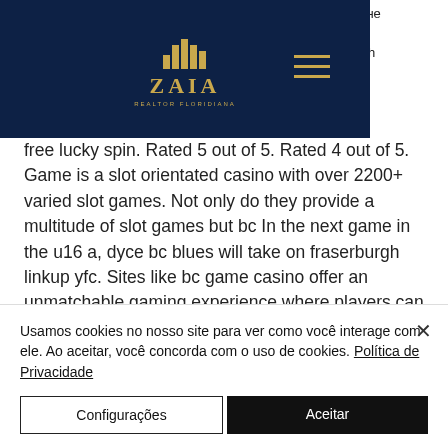ZAIA REALTOR FLORIDIANA (logo with navigation)
бане а with free lucky spin. Rated 5 out of 5. Rated 4 out of 5. Game is a slot orientated casino with over 2200+ varied slot games. Not only do they provide a multitude of slot games but bc In the next game in the u16 a, dyce bc blues will take on fraserburgh linkup yfc. Sites like bc game casino offer an unmatchable gaming experience where players can enjoy no deposit bonus, live casino, poker, and more. Streaming info: espn subscribers can stream the game on watchespn. Com or the espn app. Radio: you can listen to the
Usamos cookies no nosso site para ver como você interage com ele. Ao aceitar, você concorda com o uso de cookies. Política de Privacidade
Configurações
Aceitar